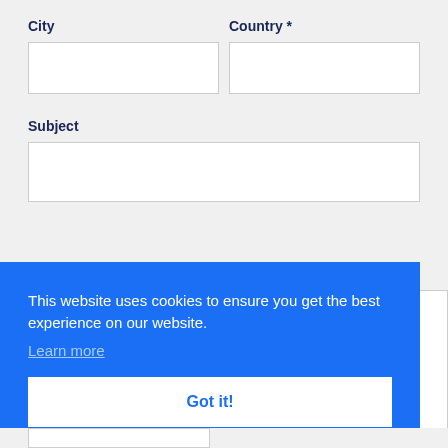City
Country *
Subject
This website uses cookies to ensure you get the best experience on our website.
Learn more
Got it!